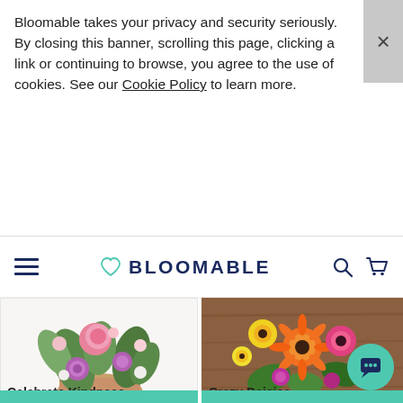Bloomable takes your privacy and security seriously. By closing this banner, scrolling this page, clicking a link or continuing to browse, you agree to the use of cookies. See our Cookie Policy to learn more.
BLOOMABLE
[Figure (photo): Pink and purple flower bouquet wrapped in brown kraft paper — Celebrate Kindness]
Celebrate Kindness
from R 440.00
[Figure (photo): Orange, yellow and pink gerbera daisy bouquet on wooden surface — Crazy Daisies]
Crazy Daisies
from R 460.00